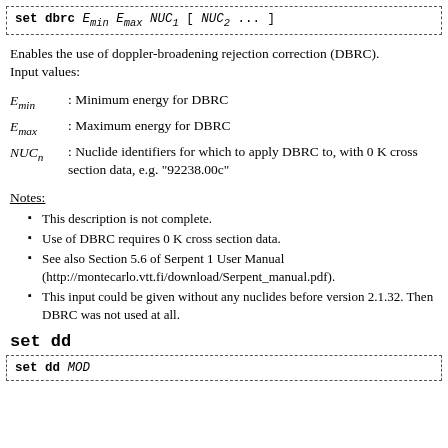set dbrc E_min E_max NUC_1 [ NUC_2 ... ]
Enables the use of doppler-broadening rejection correction (DBRC). Input values:
E_min : Minimum energy for DBRC
E_max : Maximum energy for DBRC
NUC_n : Nuclide identifiers for which to apply DBRC to, with 0 K cross section data, e.g. "92238.00c"
Notes:
This description is not complete.
Use of DBRC requires 0 K cross section data.
See also Section 5.6 of Serpent 1 User Manual (http://montecarlo.vtt.fi/download/Serpent_manual.pdf).
This input could be given without any nuclides before version 2.1.32. Then DBRC was not used at all.
set dd
set dd MOD